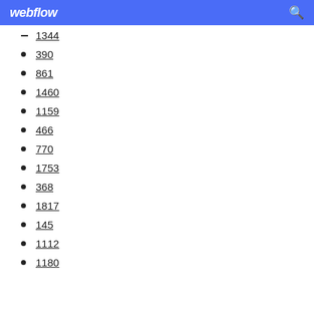webflow
1344
390
861
1460
1159
466
770
1753
368
1817
145
1112
1180